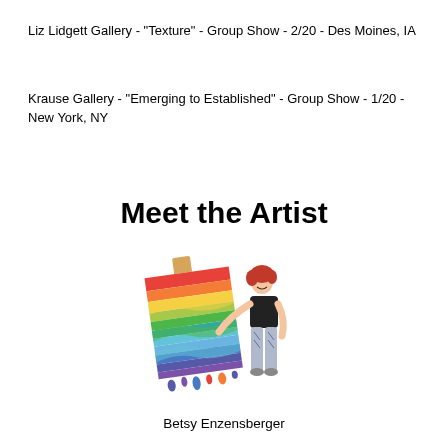Liz Lidgett Gallery - "Texture" - Group Show - 2/20 - Des Moines, IA
Krause Gallery - "Emerging to Established" - Group Show - 1/20 - New York, NY
Meet the Artist
[Figure (photo): Photo of artist Betsy Enzensberger holding a large colorful rainbow wave-patterned painting]
Betsy Enzensberger